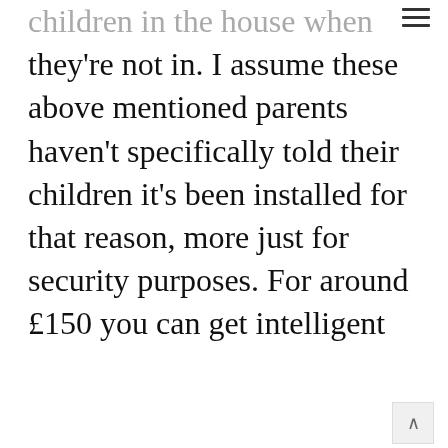children in the house when they're not in. I assume these above mentioned parents haven't specifically told their children it's been installed for that reason, more just for security purposes. For around £150 you can get intelligent